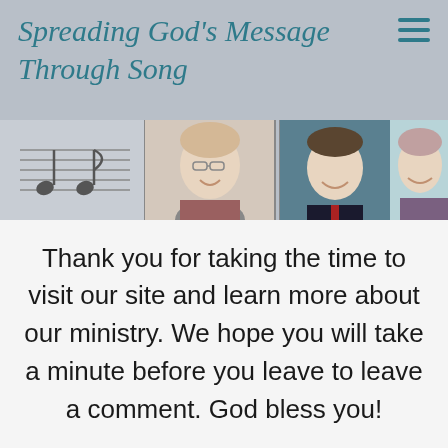Spreading God's Message Through Song
[Figure (photo): Header photo strip showing three smiling adults in a collage style with music note imagery on the left side]
Thank you for taking the time to visit our site and learn more about our ministry. We hope you will take a minute before you leave to leave a comment. God bless you!